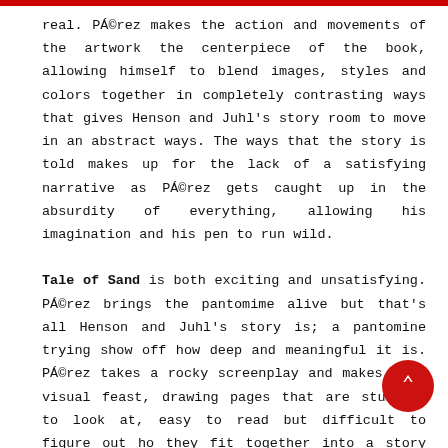real. Pérez makes the action and movements of the artwork the centerpiece of the book, allowing himself to blend images, styles and colors together in completely contrasting ways that gives Henson and Juhl's story room to move in an abstract ways. The ways that the story is told makes up for the lack of a satisfying narrative as Pérez gets caught up in the absurdity of everything, allowing his imagination and his pen to run wild.

Tale of Sand is both exciting and unsatisfying. Pérez brings the pantomime alive but that's all Henson and Juhl's story is; a pantomine trying show off how deep and meaningful it is. Pérez takes a rocky screenplay and makes it a visual feast, drawing pages that are stunning to look at, easy to read but difficult to figure out ho they fit together into a story that Henson and Juhl